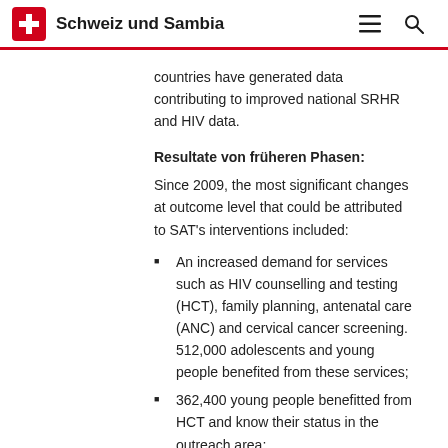Schweiz und Sambia
countries have generated data contributing to improved national SRHR and HIV data.
Resultate von früheren Phasen:
Since 2009, the most significant changes at outcome level that could be attributed to SAT's interventions included:
An increased demand for services such as HIV counselling and testing (HCT), family planning, antenatal care (ANC) and cervical cancer screening. 512,000 adolescents and young people benefited from these services;
362,400 young people benefitted from HCT and know their status in the outreach area;
An improved adherence to antiretroviral therapy (ART) amongst 19,000